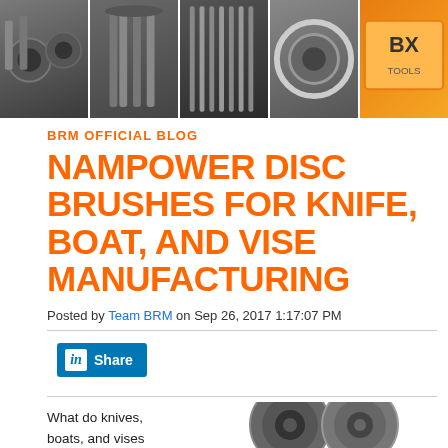[Figure (photo): Header banner showing multiple industrial brush products in a grid of panels, with the last panel showing an orange/yellow product box.]
BRM OFFICIAL BLOG
NAMPOWER DISC BRUSHES FOR KNIFE, BOAT, AND VISE MANUFACTURING
Posted by Team BRM on Sep 26, 2017 1:17:07 PM
[Figure (other): LinkedIn Share button]
What do knives, boats, and vises
[Figure (photo): Industrial disc brush product photo]